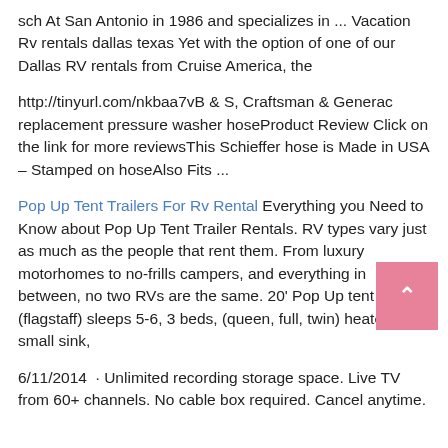sch At San Antonio in 1986 and specializes in ... Vacation Rv rentals dallas texas Yet with the option of one of our Dallas RV rentals from Cruise America, the
http://tinyurl.com/nkbaa7vB & S, Craftsman & Generac replacement pressure washer hoseProduct Review Click on the link for more reviewsThis Schieffer hose is Made in USA – Stamped on hoseAlso Fits ...
Pop Up Tent Trailers For Rv Rental Everything you Need to Know about Pop Up Tent Trailer Rentals. RV types vary just as much as the people that rent them. From luxury motorhomes to no-frills campers, and everything in between, no two RVs are the same. 20' Pop Up tent trailer (flagstaff) sleeps 5-6, 3 beds, (queen, full, twin) heater, small sink,
6/11/2014  · Unlimited recording storage space. Live TV from 60+ channels. No cable box required. Cancel anytime.